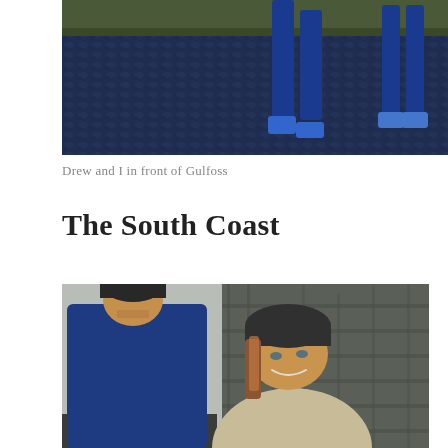[Figure (photo): Photo of two people's legs standing on dark rocky/pebbly ground with grass at the top, viewed from behind. Blue clothing and boots visible.]
Drew and I in front of Gulfoss
The South Coast
[Figure (photo): Selfie photo of a man and woman smiling in front of tall dark basalt rock formations. The man wears a dark beanie and blue jacket; the woman has brown hair under a dark hat and wears a light fuzzy coat.]